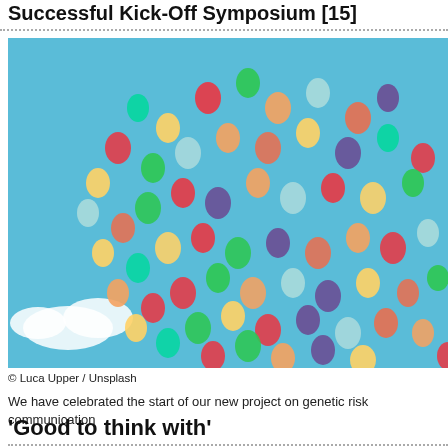Successful Kick-Off Symposium [15]
[Figure (photo): Colorful balloons flying in a blue sky, viewed from below. Many balloons of red, green, yellow, blue, orange, purple, and other colors float upward against a light blue sky with a small white cloud visible.]
© Luca Upper / Unsplash
We have celebrated the start of our new project on genetic risk communication
'Good to think with'